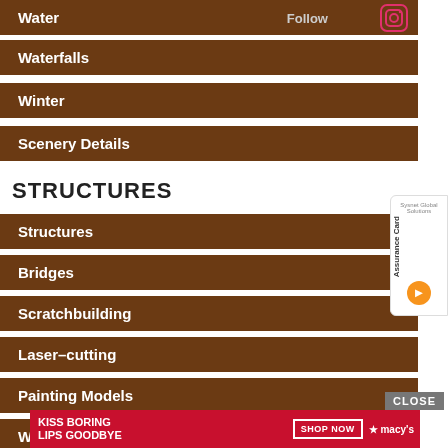Water
Waterfalls
Winter
Scenery Details
STRUCTURES
Structures
Bridges
Scratchbuilding
Laser–cutting
Painting Models
Weathering
[Figure (screenshot): Macy's advertisement banner: KISS BORING LIPS GOODBYE with SHOP NOW button and Macy's logo]